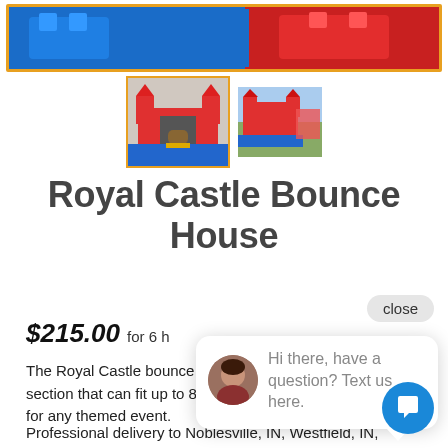[Figure (photo): Top banner image of Royal Castle Bounce House, blue and red inflatable castle with orange border frame]
[Figure (photo): Two thumbnail images of the Royal Castle Bounce House - front view selected with orange border, and side/outdoor view]
Royal Castle Bounce House
close
$215.00 for 6 h
Hi there, have a question? Text us here.
The Royal Castle Bounce House is fun for boys. The bounce section that can fit up to 8 kids. This is the perfect inflatable for any themed event.
Professional delivery to Noblesville, IN, Westfield, IN, Carmel, IN, Zionsville, IN, Fishers, IN and surrounding